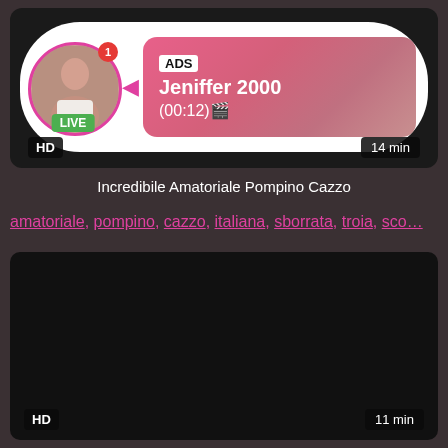[Figure (screenshot): Top video thumbnail card showing a live ad overlay with a profile picture of a woman, a green LIVE badge, an ADS label, the name Jeniffer 2000, a timer (00:12), HD badge, and 14 min duration label]
Incredibile Amatoriale Pompino Cazzo
amatoriale, pompino, cazzo, italiana, sborrata, troia, sco...
[Figure (screenshot): Bottom video thumbnail card showing a dark/black video frame with HD badge and 11 min duration label]